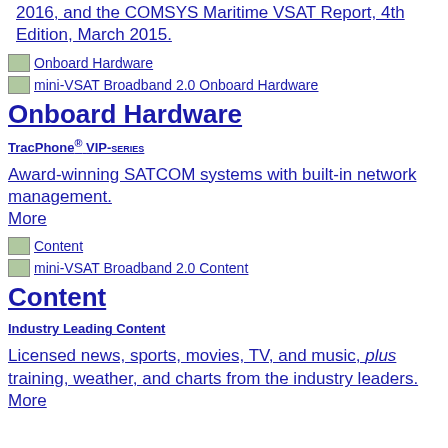2016, and the COMSYS Maritime VSAT Report, 4th Edition, March 2015.
[Figure (illustration): Small thumbnail image labeled 'Onboard Hardware']
[Figure (illustration): Small thumbnail image labeled 'mini-VSAT Broadband 2.0 Onboard Hardware']
Onboard Hardware
TracPhone® VIP-series
Award-winning SATCOM systems with built-in network management.
More
[Figure (illustration): Small thumbnail image labeled 'Content']
[Figure (illustration): Small thumbnail image labeled 'mini-VSAT Broadband 2.0 Content']
Content
Industry Leading Content
Licensed news, sports, movies, TV, and music, plus training, weather, and charts from the industry leaders.
More